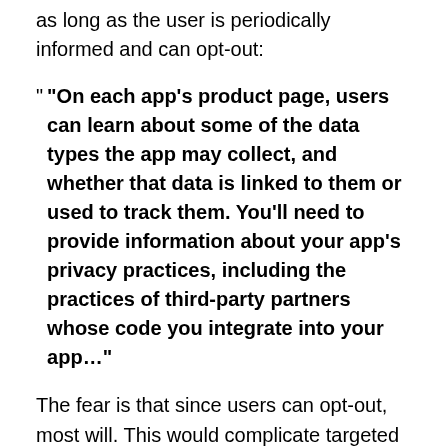as long as the user is periodically informed and can opt-out:
“On each app’s product page, users can learn about some of the data types the app may collect, and whether that data is linked to them or used to track them. You’ll need to provide information about your app’s privacy practices, including the practices of third-party partners whose code you integrate into your app…”
The fear is that since users can opt-out, most will. This would complicate targeted advertising, which requires detailed knowledge